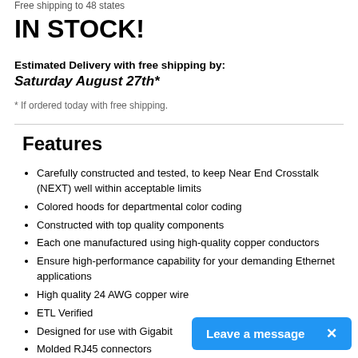Free shipping to 48 states
IN STOCK!
Estimated Delivery with free shipping by:
Saturday August 27th*
* If ordered today with free shipping.
Features
Carefully constructed and tested, to keep Near End Crosstalk (NEXT) well within acceptable limits
Colored hoods for departmental color coding
Constructed with top quality components
Each one manufactured using high-quality copper conductors
Ensure high-performance capability for your demanding Ethernet applications
High quality 24 AWG copper wire
ETL Verified
Designed for use with Gigabit
Molded RJ45 connectors